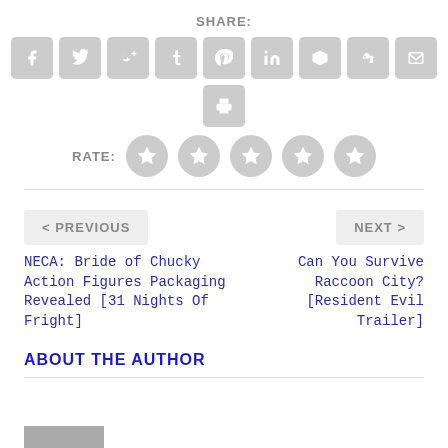SHARE:
[Figure (infographic): Row of 9 social share icon buttons (Facebook, Twitter, Google+, Tumblr, Pinterest, LinkedIn, Buffer, StumbleUpon, Email) in gray rounded squares, plus a print icon below]
RATE: (5 star rating circles)
< PREVIOUS
NEXT >
NECA: Bride of Chucky Action Figures Packaging Revealed [31 Nights Of Fright]
Can You Survive Raccoon City? [Resident Evil Trailer]
ABOUT THE AUTHOR